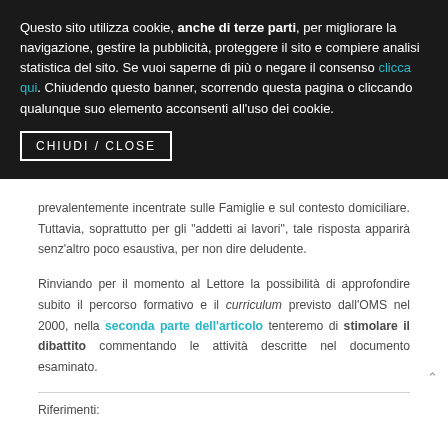Questo sito utilizza cookie, anche di terze parti, per migliorare la navigazione, gestire la pubblicità, proteggere il sito e compiere analisi statistica del sito. Se vuoi saperne di più o negare il consenso clicca qui. Chiudendo questo banner, scorrendo questa pagina o cliccando qualunque suo elemento acconsenti all'uso dei cookie.
CHIUDI / CLOSE
prevalentemente incentrate sulle Famiglie e sul contesto domiciliare. Tuttavia, soprattutto per gli "addetti ai lavori", tale risposta apparirà senz'altro poco esaustiva, per non dire deludente.
Rinviando per il momento al Lettore la possibilità di approfondire subito il percorso formativo e il curriculum previsto dall'OMS nel 2000, nella seconda parte dell'articolo tenteremo di stimolare il dibattito commentando le attività descritte nel documento esaminato.
Riferimenti: